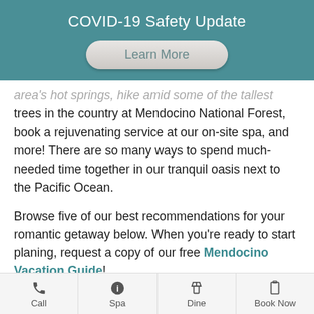COVID-19 Safety Update
Learn More
area's hot springs, hike amid some of the tallest trees in the country at Mendocino National Forest, book a rejuvenating service at our on-site spa, and more! There are so many ways to spend much-needed time together in our tranquil oasis next to the Pacific Ocean.
Browse five of our best recommendations for your romantic getaway below. When you're ready to start planing, request a copy of our free Mendocino Vacation Guide!
Get Your Guide To Mendocino
Call  Spa  Dine  Book Now